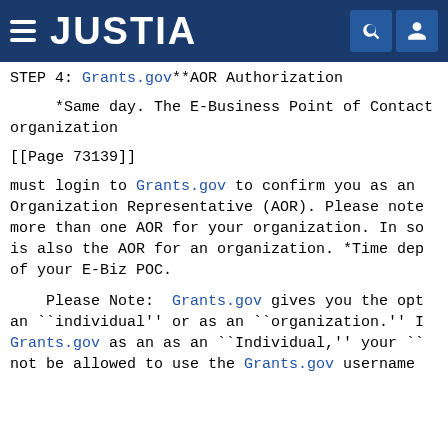JUSTIA
STEP 4: Grants.gov**AOR Authorization
*Same day. The E-Business Point of Contact organization
[[Page 73139]]
must login to Grants.gov to confirm you as an Organization Representative (AOR). Please note more than one AOR for your organization. In so is also the AOR for an organization. *Time dep of your E-Biz POC.
Please Note: Grants.gov gives you the opt an ``individual'' or as an ``organization.'' Grants.gov as an as an ``Individual,'' your `` not be allowed to use the Grants.gov username